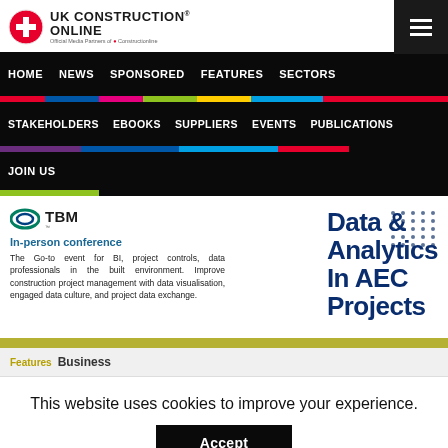[Figure (logo): UK Construction Online logo with red cross shield icon and text]
HOME  NEWS  SPONSORED  FEATURES  SECTORS
STAKEHOLDERS  EBOOKS  SUPPLIERS  EVENTS  PUBLICATIONS
JOIN US
[Figure (logo): TBM logo - oval shape in teal/green]
In-person conference
The Go-to event for BI, project controls, data professionals in the built environment. Improve construction project management with data visualisation, engaged data culture, and project data exchange.
Data & Analytics In AEC Projects
Features   Business
This website uses cookies to improve your experience.
Accept